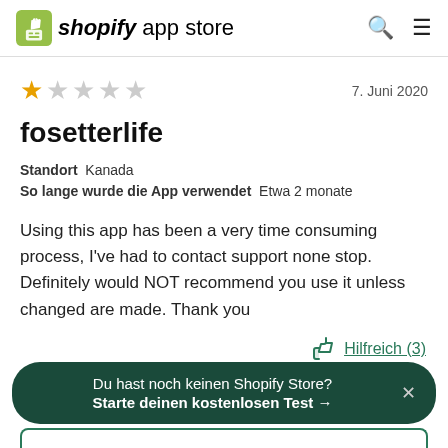[Figure (logo): Shopify App Store logo with green shopping bag icon and text 'shopify app store']
7. Juni 2020
fosetterlife
Standort  Kanada
So lange wurde die App verwendet  Etwa 2 monate
Using this app has been a very time consuming process, I've had to contact support none stop. Definitely would NOT recommend you use it unless changed are made. Thank you
Hilfreich (3)
Du hast noch keinen Shopify Store?
Starte deinen kostenlosen Test →